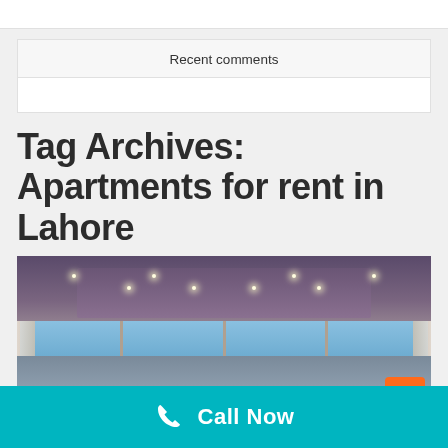Recent comments
Tag Archives: Apartments for rent in Lahore
[Figure (photo): Interior photo of a modern apartment with large floor-to-ceiling windows showing a city skyline at dusk, recessed ceiling lights, and a tray ceiling.]
Call Now